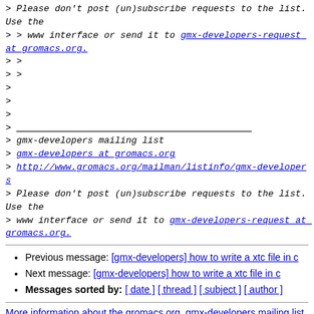> Please don't post (un)subscribe requests to the list. Use the
> > www interface or send it to gmx-developers-request at gromacs.org.
> >
> >
>
>
>
> ___________________________________________
> gmx-developers mailing list
> gmx-developers at gromacs.org
> http://www.gromacs.org/mailman/listinfo/gmx-developers
> Please don't post (un)subscribe requests to the list. Use the
> www interface or send it to gmx-developers-request at gromacs.org.
Previous message: [gmx-developers] how to write a xtc file in c
Next message: [gmx-developers] how to write a xtc file in c
Messages sorted by: [ date ] [ thread ] [ subject ] [ author ]
More information about the gromacs.org_gmx-developers mailing list